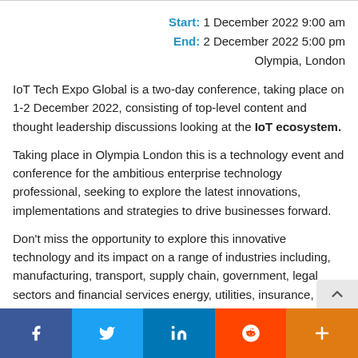Start: 1 December 2022 9:00 am
End: 2 December 2022 5:00 pm
Olympia, London
IoT Tech Expo Global is a two-day conference, taking place on 1-2 December 2022, consisting of top-level content and thought leadership discussions looking at the IoT ecosystem.
Taking place in Olympia London this is a technology event and conference for the ambitious enterprise technology professional, seeking to explore the latest innovations, implementations and strategies to drive businesses forward.
Don't miss the opportunity to explore this innovative technology and its impact on a range of industries including, manufacturing, transport, supply chain, government, legal sectors and financial services energy, utilities, insurance, healthcare, retail and mo
Facebook, Twitter, LinkedIn, Reddit, More